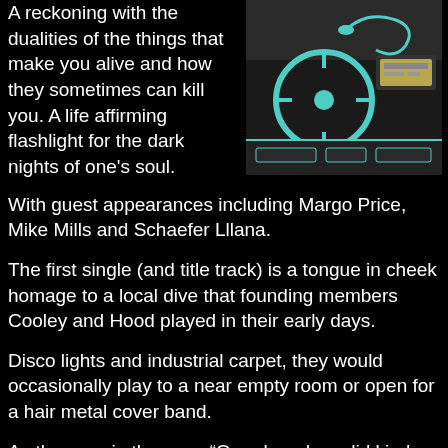A reckoning with the dualities of the things that make you alive and how they sometimes can kill you. A life affirming flashlight for the dark nights of one's soul.
[Figure (illustration): Illustration of a car interior dashboard with steering wheel and radio, drawn in a comic/sketch style with teal and black tones]
With guest appearances including Margo Price, Mike Mills and Schaefer Lllana.
The first single (and title track) is a tongue in cheek homage to a local dive that founding members Cooley and Hood played in their early days.
Disco lights and industrial carpet, they would occasionally play to a near empty room or open for a hair metal cover band.
As they say in the song “Our glory days did kinda suck”.